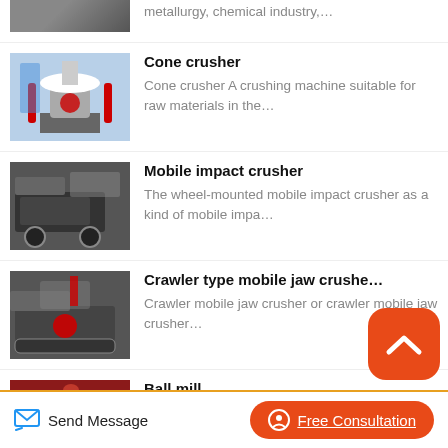metallurgy, chemical industry,…
Cone crusher
Cone crusher A crushing machine suitable for raw materials in the…
[Figure (photo): Cone crusher machine photo]
Mobile impact crusher
The wheel-mounted mobile impact crusher as a kind of mobile impa…
[Figure (photo): Mobile impact crusher photo]
Crawler type mobile jaw crusher
Crawler mobile jaw crusher or crawler mobile jaw crusher…
[Figure (photo): Crawler type mobile jaw crusher photo]
Ball mill
Ball mill is the key equipment for
[Figure (photo): Ball mill photo]
Send Message | Free Consultation